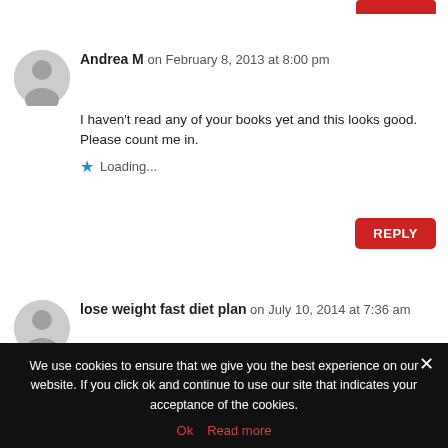Andrea M on February 8, 2013 at 8:00 pm
I haven't read any of your books yet and this looks good. Please count me in.
Loading...
lose weight fast diet plan on July 10, 2014 at 7:36 am
I have been browsing on-line more than 3 hours lately, but I never found any attention-grabbing article like
We use cookies to ensure that we give you the best experience on our website. If you click ok and continue to use our site that indicates your acceptance of the cookies.
Ok  Read more